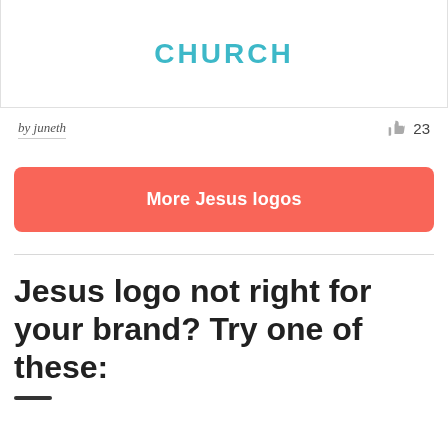[Figure (screenshot): Partial logo design showing the word CHURCH in teal/cyan bold letters on white background, within a bordered card]
by juneth
23
More Jesus logos
Jesus logo not right for your brand? Try one of these: